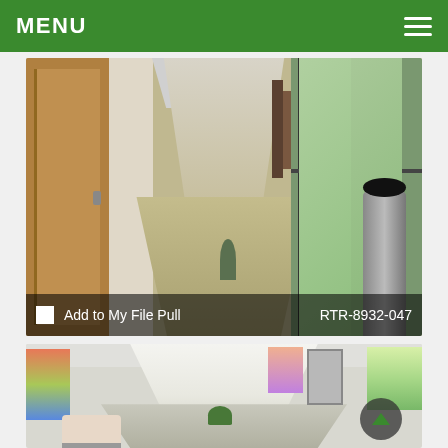MENU
[Figure (photo): Interior corridor of a building showing a wooden door on the left, a long hallway extending to the back with polished floors, artwork on walls, and large glass windows/entrance on the right with a trash can visible. Overlay text at bottom: 'Add to My File Pull' and 'RTR-8932-047']
[Figure (photo): Interior corridor of a building showing a bright hallway with white walls, ceiling lights, colorful artwork on left and right walls, a chair visible at bottom left, and a scroll-up button at bottom right.]